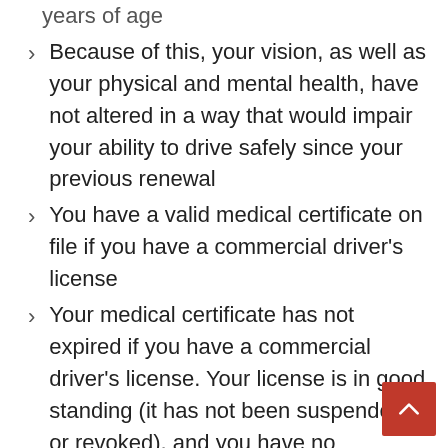years of age
Because of this, your vision, as well as your physical and mental health, have not altered in a way that would impair your ability to drive safely since your previous renewal
You have a valid medical certificate on file if you have a commercial driver’s license
Your medical certificate has not expired if you have a commercial driver’s license. Your license is in good standing (it has not been suspended or revoked), and you have no outstanding warrants or unpaid tickets. Please see ourLicense Eligibilitypage for more information on